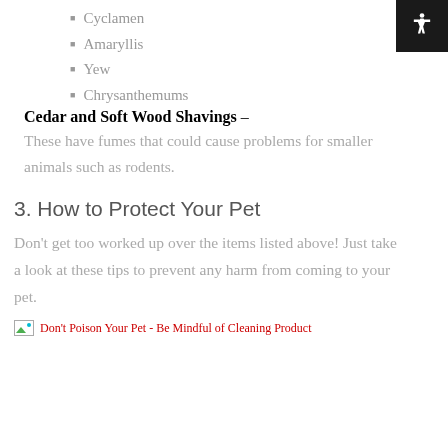Cyclamen
Amaryllis
Yew
Chrysanthemums
Cedar and Soft Wood Shavings – These have fumes that could cause problems for smaller animals such as rodents.
3. How to Protect Your Pet
Don't get too worked up over the items listed above! Just take a look at these tips to prevent any harm from coming to your pet.
[Figure (photo): Broken image placeholder labeled 'Don't Poison Your Pet - Be Mindful of Cleaning Product']